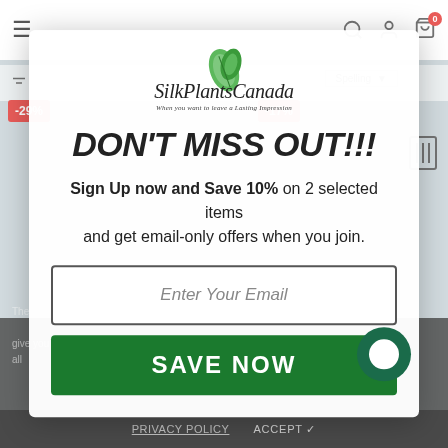[Figure (logo): Silk Plants Canada logo with green leaf and italic serif text reading 'SilkPlantsCanada' and tagline 'When you want to leave a Lasting Impression']
DON'T MISS OUT!!!
Sign Up now and Save 10% on 2 selected items and get email-only offers when you join.
[Figure (screenshot): Email input field with placeholder text 'Enter Your Email']
SAVE NOW